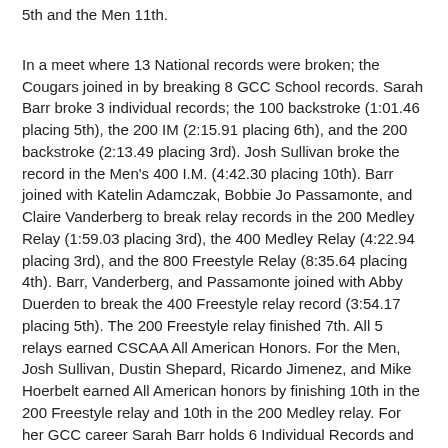5th and the Men 11th.
In a meet where 13 National records were broken; the Cougars joined in by breaking 8 GCC School records. Sarah Barr broke 3 individual records; the 100 backstroke (1:01.46 placing 5th), the 200 IM (2:15.91 placing 6th), and the 200 backstroke (2:13.49 placing 3rd). Josh Sullivan broke the record in the Men's 400 I.M. (4:42.30 placing 10th). Barr joined with Katelin Adamczak, Bobbie Jo Passamonte, and Claire Vanderberg to break relay records in the 200 Medley Relay (1:59.03 placing 3rd), the 400 Medley Relay (4:22.94 placing 3rd), and the 800 Freestyle Relay (8:35.64 placing 4th). Barr, Vanderberg, and Passamonte joined with Abby Duerden to break the 400 Freestyle relay record (3:54.17 placing 5th). The 200 Freestyle relay finished 7th. All 5 relays earned CSCAA All American Honors. For the Men, Josh Sullivan, Dustin Shepard, Ricardo Jimenez, and Mike Hoerbelt earned All American honors by finishing 10th in the 200 Freestyle relay and 10th in the 200 Medley relay. For her GCC career Sarah Barr holds 6 Individual Records and 4 Relay records the most by any swimmer in the 10 year history of the women's swimming team.